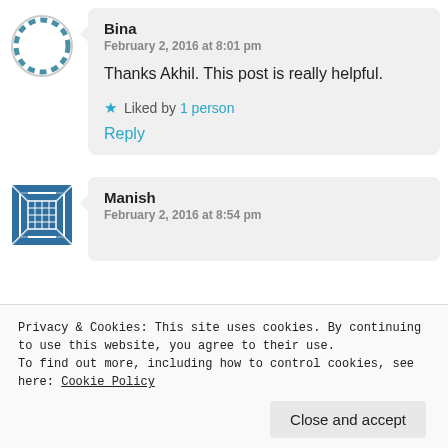Bina
February 2, 2016 at 8:01 pm
Thanks Akhil. This post is really helpful.
★ Liked by 1 person
Reply
Manish
February 2, 2016 at 8:54 pm
Privacy & Cookies: This site uses cookies. By continuing to use this website, you agree to their use. To find out more, including how to control cookies, see here: Cookie Policy
Close and accept